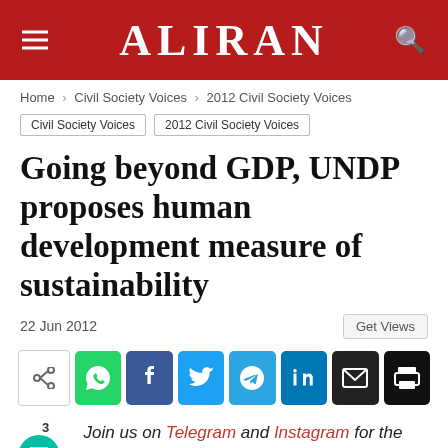ALIRAN
Home > Civil Society Voices > 2012 Civil Society Voices
Civil Society Voices  2012 Civil Society Voices
Going beyond GDP, UNDP proposes human development measure of sustainability
22 Jun 2012
[Figure (other): Social share buttons row: share icon, WhatsApp, Facebook, Twitter, Telegram, LinkedIn, email, print]
Join us on Telegram and Instagram for the latest.
Rio de Janeiro, Brazil, 20 June 2012—In a high-